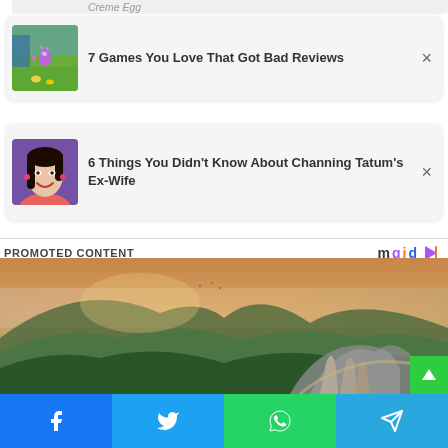Creme Egg
[Figure (screenshot): Card with game screenshot (Spyro the Dragon) and title '7 Games You Love That Got Bad Reviews' with close X button]
[Figure (screenshot): Card with photo of dark-haired woman smiling and title '6 Things You Didn't Know About Channing Tatum's Ex-Wife' with close X button]
PROMOTED CONTENT
[Figure (photo): Aerial landscape photo showing mountainous terrain with forested hills and what appears to be a bridge with giant stone hands (Golden Bridge, Vietnam)]
[Figure (screenshot): Social sharing bar at bottom with Facebook, Twitter, WhatsApp, and Telegram buttons]